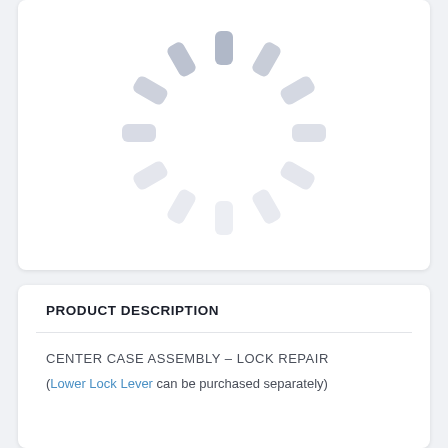[Figure (illustration): Loading spinner / circular progress indicator graphic with rounded rectangular segments arranged in a circle, shown in light gray/silver tones on a white card background]
PRODUCT DESCRIPTION
CENTER CASE ASSEMBLY – LOCK REPAIR
(Lower Lock Lever can be purchased separately)